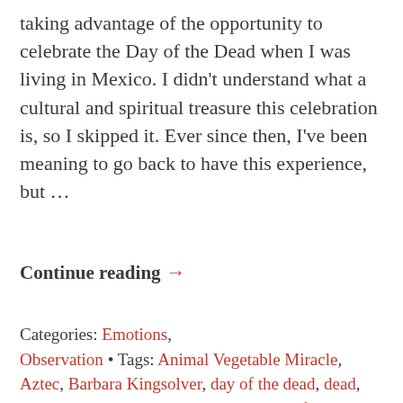taking advantage of the opportunity to celebrate the Day of the Dead when I was living in Mexico. I didn't understand what a cultural and spiritual treasure this celebration is, so I skipped it. Ever since then, I've been meaning to go back to have this experience, but …
Continue reading →
Categories: Emotions, Observation • Tags: Animal Vegetable Miracle, Aztec, Barbara Kingsolver, day of the dead, dead, death, deceased, Dia de los Muertos, grief, immortality, memories, Mexico, mourning, xantolo •